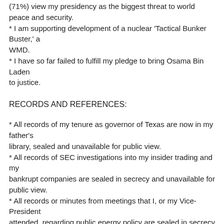(71%) view my presidency as the biggest threat to world peace and security.
* I am supporting development of a nuclear 'Tactical Bunker Buster,' a WMD.
* I have so far failed to fulfill my pledge to bring Osama Bin Laden to justice.
RECORDS AND REFERENCES:
* All records of my tenure as governor of Texas are now in my father's library, sealed and unavailable for public view.
* All records of SEC investigations into my insider trading and my bankrupt companies are sealed in secrecy and unavailable for public view.
* All records or minutes from meetings that I, or my Vice-President attended, regarding public energy policy are sealed in secrecy and